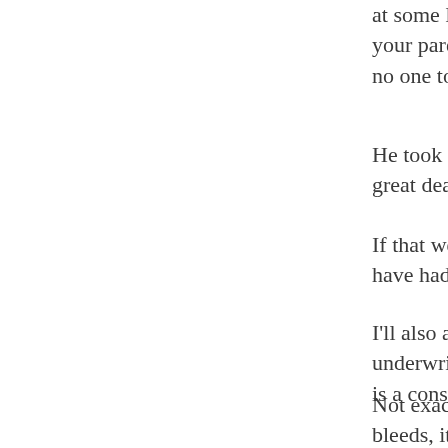at some Boston bar and I asked him outright: W your parents were poor? If you knew that the b no one to turn to if things got rough? Answer:
He took subsidies from his parents all through great deal of difficulty affording even simple t
If that were me, I'm not sure what I would hav have had nowhere to turn. And I concluded: I'
I'll also add that his writing skills ended up be underwriting for $13 an hour at all sorts of od is a constant need to produce the news.
Not exactly creative or super fulfilling. And d bleeds, it leads, baby. Same friend saw the mo wasn't funny at all. It was basically a docume anchors, trivial, transient stories, stupidity all a